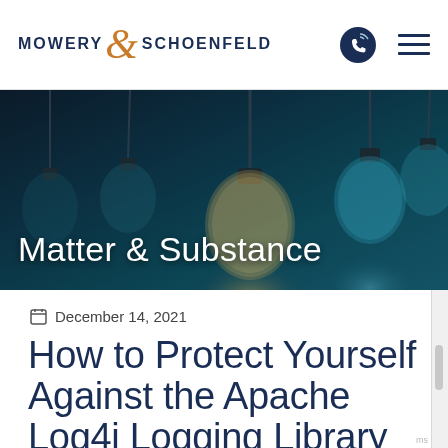MOWERY & SCHOENFELD
[Figure (photo): Dark background banner with hanging light bulbs in teal/blue tones titled 'Matter & Substance']
Matter & Substance
December 14, 2021
How to Protect Yourself Against the Apache Log4j Logging Library Exploit